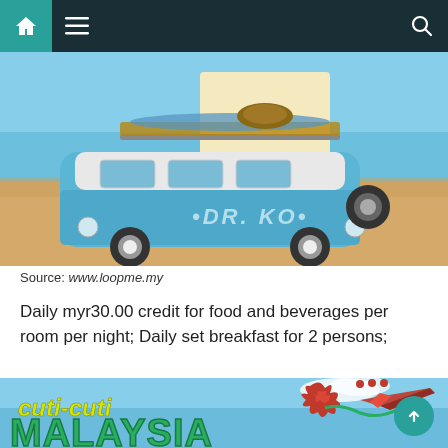Navigation bar with home, menu, and search icons
[Figure (illustration): A retro-style blue VW camper van labeled 'DR. KO' with surfboards and luggage on the roof rack, parked on a sandy beach with ocean in the background]
Source: www.loopme.my
Daily myr30.00 credit for food and beverages per room per night; Daily set breakfast for 2 persons;
[Figure (illustration): Cuti-Cuti Malaysia tourism logo/banner with yellow stylized text 'cuti-cuti' and green text 'MALAYSIA', red hibiscus flower, and a passenger airplane on blue sky background]